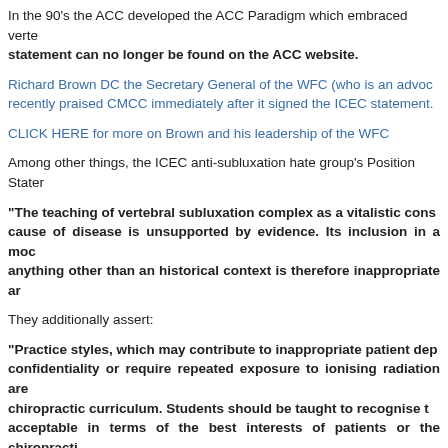In the 90's the ACC developed the ACC Paradigm which embraced vertebral subluxation. That statement can no longer be found on the ACC website.
Richard Brown DC the Secretary General of the WFC (who is an advocate of ICEC) recently praised CMCC immediately after it signed the ICEC statement.
CLICK HERE for more on Brown and his leadership of the WFC
Among other things, the ICEC anti-subluxation hate group's Position Statement asserts:
“The teaching of vertebral subluxation complex as a vitalistic construct that claims that it is the cause of disease is unsupported by evidence. Its inclusion in a modern chiropractic curriculum in anything other than an historical context is therefore inappropriate and unnecessary.”
They additionally assert:
“Practice styles, which may contribute to inappropriate patient dependency, compromise patient confidentiality or require repeated exposure to ionising radiation are unacceptable in a modern chiropractic curriculum. Students should be taught to recognise that such practice styles are not acceptable in terms of the best interests of patients or the chiropractic profession.”
The organizations define "Practice styles" as referring